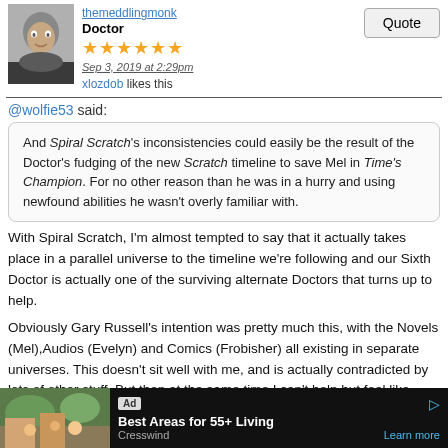themeddlingmonk
Doctor
★★★★★★
Sep 3, 2019 at 2:29pm
xlozdob likes this
@wolfie53 said:
And Spiral Scratch's inconsistencies could easily be the result of the Doctor's fudging of the new Scratch timeline to save Mel in Time's Champion. For no other reason than he was in a hurry and using newfound abilities he wasn't overly familiar with.
With Spiral Scratch, I'm almost tempted to say that it actually takes place in a parallel universe to the timeline we're following and our Sixth Doctor is actually one of the surviving alternate Doctors that turns up to help.
Obviously Gary Russell's intention was pretty much this, with the Novels (Mel),Audios (Evelyn) and Comics (Frobisher) all existing in separate universes. This doesn't sit well with me, and is actually contradicted by lots of other stuff. But then at the same time I can't help but feel like Spiral Scratch is one of the few times saying it was an alternate timeline is actually an appropriate and sensical solution.
Ad Best Areas for 55+ Living Cresswind Learn more